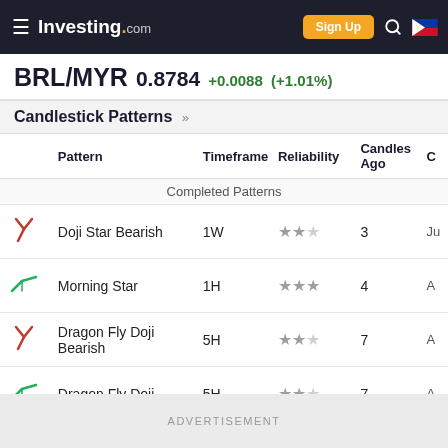Investing.com — Sign Up
BRL/MYR 0.8784 +0.0088 (+1.01%)
Candlestick Patterns »
| Pattern | Timeframe | Reliability | Candles Ago | C |
| --- | --- | --- | --- | --- |
| Completed Patterns |  |  |  |  |
| Doji Star Bearish | 1W | ★★☆ | 3 | Ju |
| Morning Star | 1H | ★★★ | 4 | A |
| Dragon Fly Doji Bearish | 5H | ★★☆ | 7 | A |
| Dragon Fly Doji | 5H | ★★☆ | 7 | A |
| Engulfing Bearish | 1D | ★★☆ | 9 | A |
ADVERTISEMENT